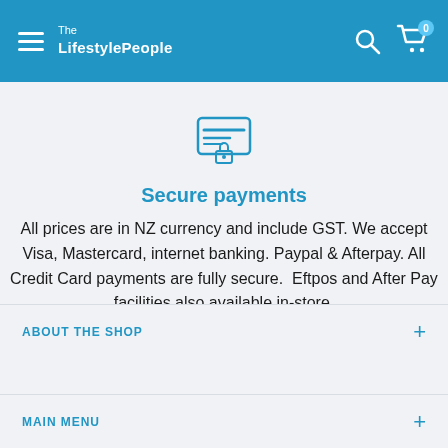The LifestylePeople
[Figure (illustration): Secure payment icon: a credit card with horizontal lines and a padlock at the bottom, in blue outline style]
Secure payments
All prices are in NZ currency and include GST. We accept Visa, Mastercard, internet banking. Paypal & Afterpay. All Credit Card payments are fully secure.  Eftpos and After Pay facilities also available in-store.
ABOUT THE SHOP
MAIN MENU